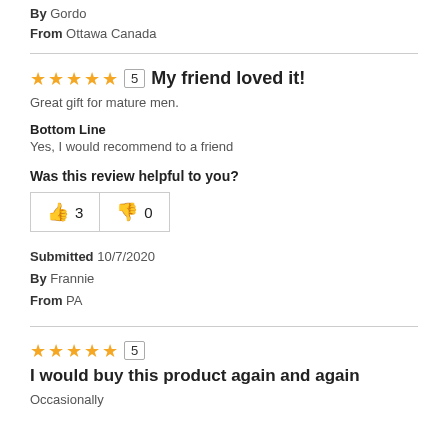By Gordo
From Ottawa Canada
★★★★★  5  My friend loved it!
Great gift for mature men.
Bottom Line
Yes, I would recommend to a friend
Was this review helpful to you?
👍 3  👎 0
Submitted 10/7/2020
By Frannie
From PA
★★★★★  5
I would buy this product again and again
Occasionally